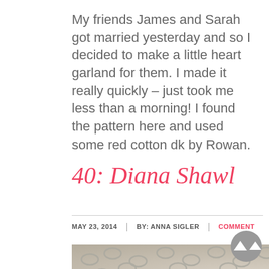My friends James and Sarah got married yesterday and so I decided to make a little heart garland for them. I made it really quickly – just took me less than a morning! I found the pattern here and used some red cotton dk by Rowan.
40: Diana Shawl
MAY 23, 2014 | BY: ANNA SIGLER | COMMENT
[Figure (photo): Close-up photo of grey crochet lace work on a wooden surface, showing the textured pattern of the Diana Shawl]